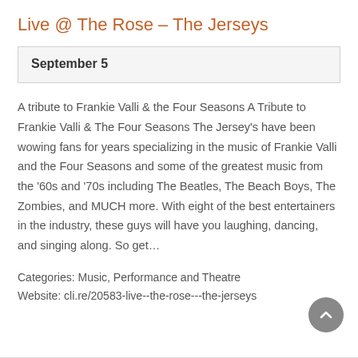Live @ The Rose – The Jerseys
| September 5 |
A tribute to Frankie Valli & the Four Seasons A Tribute to Frankie Valli & The Four Seasons The Jersey's have been wowing fans for years specializing in the music of Frankie Valli and the Four Seasons and some of the greatest music from the '60s and '70s including The Beatles, The Beach Boys, The Zombies, and MUCH more. With eight of the best entertainers in the industry, these guys will have you laughing, dancing, and singing along. So get…
Categories: Music, Performance and Theatre
Website: cli.re/20583-live--the-rose---the-jerseys